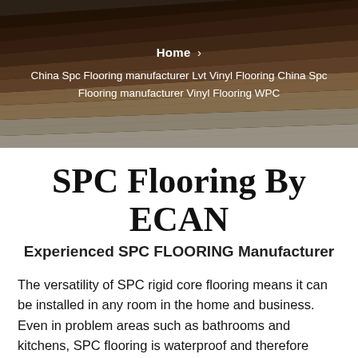[Figure (photo): Fanned-out SPC flooring planks in various wood-grain patterns and colors, displayed against a dark background.]
Home >
China Spc Flooring manufacturer Lvt Vinyl Flooring China Spc Flooring manufacturer Vinyl Flooring WPC
SPC Flooring By ECAN
Experienced SPC FLOORING Manufacturer
The versatility of SPC rigid core flooring means it can be installed in any room in the home and business. Even in problem areas such as bathrooms and kitchens, SPC flooring is waterproof and therefore perfect for these installations. With the ultra stable core, it is also ideal for